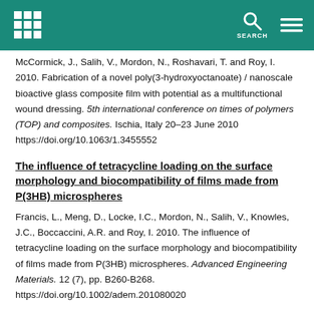[University logo] SEARCH [menu icon]
McCormick, J., Salih, V., Mordon, N., Roshavari, T. and Roy, I. 2010. Fabrication of a novel poly(3-hydroxyoctanoate) / nanoscale bioactive glass composite film with potential as a multifunctional wound dressing. 5th international conference on times of polymers (TOP) and composites. Ischia, Italy 20–23 June 2010 https://doi.org/10.1063/1.3455552
The influence of tetracycline loading on the surface morphology and biocompatibility of films made from P(3HB) microspheres
Francis, L., Meng, D., Locke, I.C., Mordon, N., Salih, V., Knowles, J.C., Boccaccini, A.R. and Roy, I. 2010. The influence of tetracycline loading on the surface morphology and biocompatibility of films made from P(3HB) microspheres. Advanced Engineering Materials. 12 (7), pp. B260-B268. https://doi.org/10.1002/adem.201080020
Anti-inflammatory and antiosteoclastogenesis